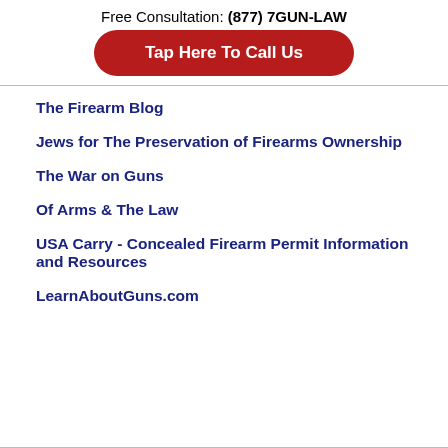Free Consultation: (877) 7GUN-LAW
Tap Here To Call Us
The Firearm Blog
Jews for The Preservation of Firearms Ownership
The War on Guns
Of Arms & The Law
USA Carry - Concealed Firearm Permit Information and Resources
LearnAboutGuns.com